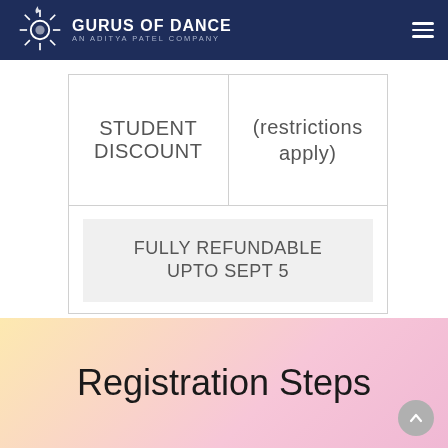GURUS OF DANCE — AN ADITYA PATEL COMPANY
|  |  |
| --- | --- |
| STUDENT DISCOUNT | (restrictions apply) |
| FULLY REFUNDABLE UPTO SEPT 5 |  |
Registration Steps